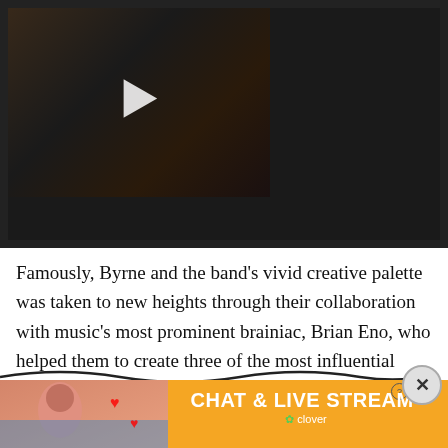[Figure (photo): Video thumbnail showing a person with long dark hair, with a play button overlay. Set in a dark bordered video player frame.]
Famously, Byrne and the band’s vivid creative palette was taken to new heights through their collaboration with music’s most prominent brainiac, Brian Eno, who helped them to create three of the most influential albums of the era: 1978’s More Songs About Buildings and Food, 1979’s Fear of Music and 1980’s Re…
[Figure (screenshot): Advertisement banner for 'CHAT & LIVE STREAM' by Clover, with orange background, close and help buttons, and a photo of a woman on a beach with heart emojis.]